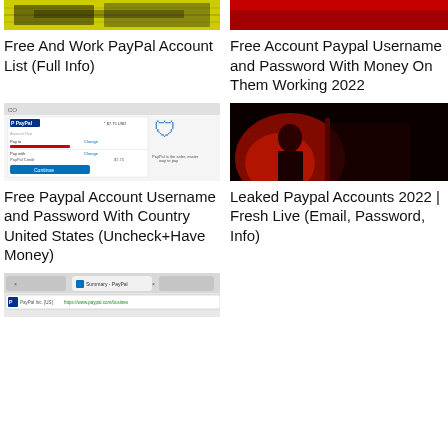[Figure (screenshot): Yellow banner image with dark grunge text - top thumbnail for Free And Work PayPal Account List]
[Figure (screenshot): Red banner image - top thumbnail for Free Account Paypal Username and Password]
Free And Work PayPal Account List (Full Info)
Free Account Paypal Username and Password With Money On Them Working 2022
[Figure (screenshot): PayPal checkout interface screenshot with blue shield logo and Continue button]
[Figure (photo): Dark red dramatic photo showing silhouette figure with red lighting]
Free Paypal Account Username and Password With Country United States (Uncheck+Have Money)
Leaked Paypal Accounts 2022 | Fresh Live (Email, Password, Info)
[Figure (screenshot): Browser screenshot showing PayPal Inc. tab and paypal.com/business URL]